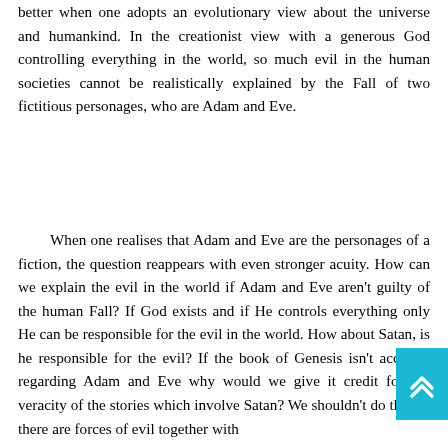better when one adopts an evolutionary view about the universe and humankind. In the creationist view with a generous God controlling everything in the world, so much evil in the human societies cannot be realistically explained by the Fall of two fictitious personages, who are Adam and Eve.
When one realises that Adam and Eve are the personages of a fiction, the question reappears with even stronger acuity. How can we explain the evil in the world if Adam and Eve aren't guilty of the human Fall? If God exists and if He controls everything only He can be responsible for the evil in the world. How about Satan, is he responsible for the evil? If the book of Genesis isn't accurate regarding Adam and Eve why would we give it credit for the veracity of the stories which involve Satan? We shouldn't do that. If there are forces of evil together with